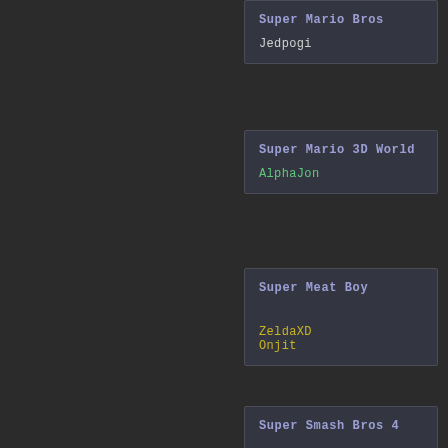Super Mario Bros
Jedpogi
Super Mario 3D World
AlphaJon
Super Meat Boy
ZeldaXD
Onjit
Super Smash Bros 4